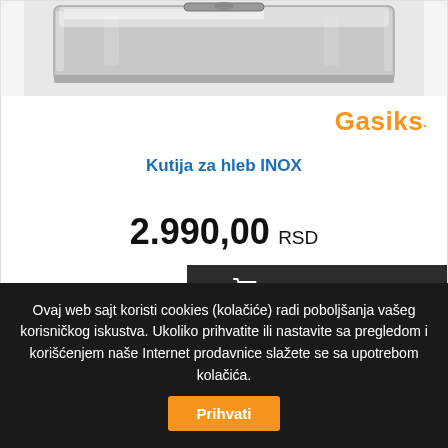[Figure (photo): Product photo of a stainless steel bread box (Kutija za hleb INOX), partially cropped at top]
[Figure (logo): Gasiks logo in orange with blue dot]
Kutija za hleb INOX
2.990,00 RSD
DODAJ U KORPU
Ovaj web sajt koristi cookies (kolačiće) radi poboljšanja vašeg korisničkog iskustva. Ukoliko prihvatite ili nastavite sa pregledom i korišćenjem naše Internet prodavnice slažete se sa upotrebom kolačića.
Prihvati